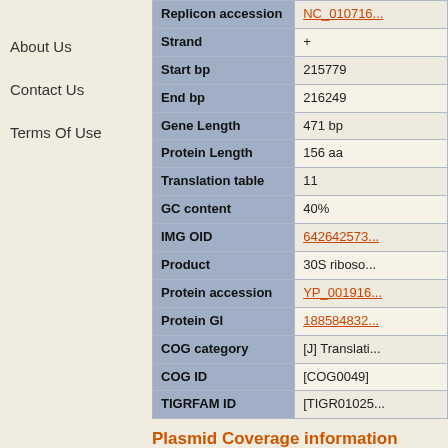About Us
Contact Us
Terms Of Use
| Field | Value |
| --- | --- |
| Replicon accession | NC_010716... |
| Strand | + |
| Start bp | 215779 |
| End bp | 216249 |
| Gene Length | 471 bp |
| Protein Length | 156 aa |
| Translation table | 11 |
| GC content | 40% |
| IMG OID | 642642573... |
| Product | 30S riboso... |
| Protein accession | YP_001916... |
| Protein GI | 188584832... |
| COG category | [J] Translati... |
| COG ID | [COG0049] |
| TIGRFAM ID | [TIGR01025... |
Plasmid Coverage information
| Field | Value |
| --- | --- |
| Num covering plasmid clones | 2 |